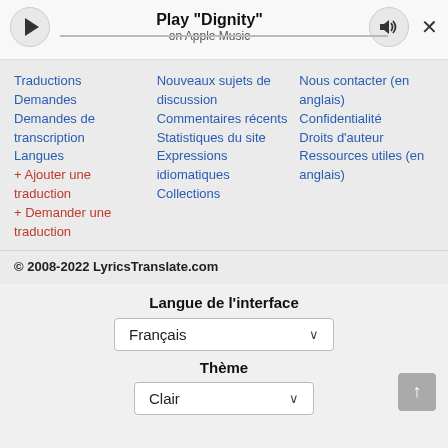[Figure (screenshot): Music player bar with play button, title 'Play "Dignity"', subtitle 'on Apple Music', volume button, and close X button]
Traductions
Demandes
Demandes de transcription
Langues
+ Ajouter une traduction
+ Demander une traduction
Nouveaux sujets de discussion
Commentaires récents
Statistiques du site
Expressions idiomatiques
Collections
Nous contacter (en anglais)
Confidentialité
Droits d'auteur
Ressources utiles (en anglais)
© 2008-2022 LyricsTranslate.com
Langue de l'interface
Français
Thème
Clair